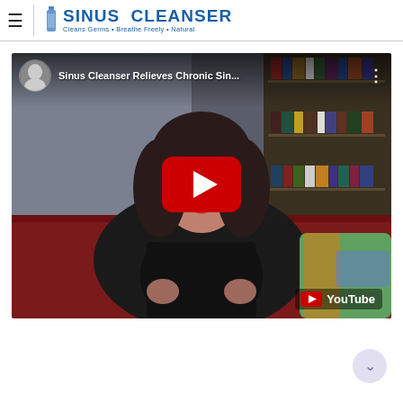☰ | SINUS CLEANSER · Cleans Germs · Breathe Freely · Natural
[Figure (screenshot): YouTube video thumbnail embed showing a woman with dark hair sitting on a red couch, with a bookshelf in the background. Title reads 'Sinus Cleanser Relieves Chronic Sin...' The video has a YouTube play button overlay and YouTube logo in the bottom right.]